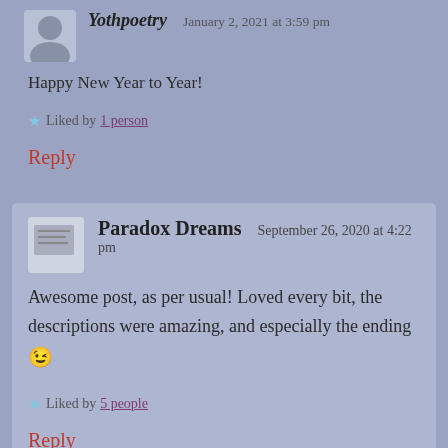Yothpoetry   January 2, 2021 at 3:59 pm
Happy New Year to Year!
Liked by 1 person
Reply
Paradox Dreams   September 26, 2020 at 4:22 pm
Awesome post, as per usual! Loved every bit, the descriptions were amazing, and especially the ending 😉
Liked by 5 people
Reply